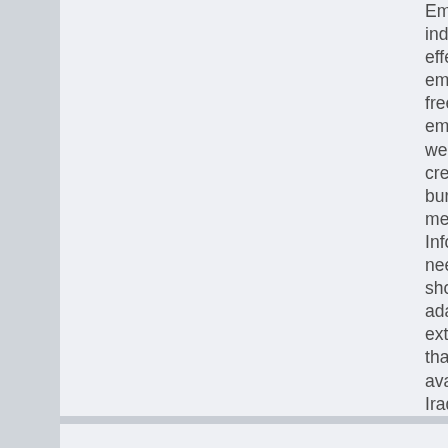Empowering individuals is cost effective as it emphasizes the freedom of “self-empowerment”. If we know we can't create the bureacracy to meet our Informational needs, maybe we should take adavantage and extend the one that is already available - the Iraqi people through the Internet.
06.06.2007